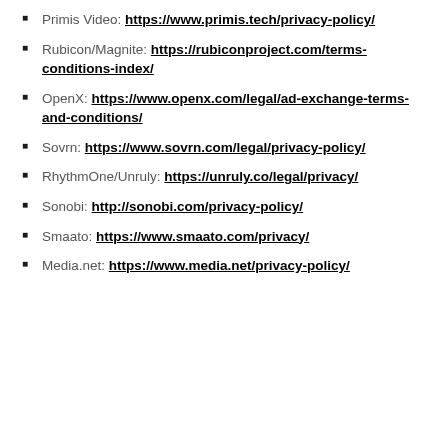Primis Video: https://www.primis.tech/privacy-policy/
Rubicon/Magnite: https://rubiconproject.com/terms-conditions-index/
OpenX: https://www.openx.com/legal/ad-exchange-terms-and-conditions/
Sovrn: https://www.sovrn.com/legal/privacy-policy/
RhythmOne/Unruly: https://unruly.co/legal/privacy/
Sonobi: http://sonobi.com/privacy-policy/
Smaato: https://www.smaato.com/privacy/
Media.net: https://www.media.net/privacy-policy/